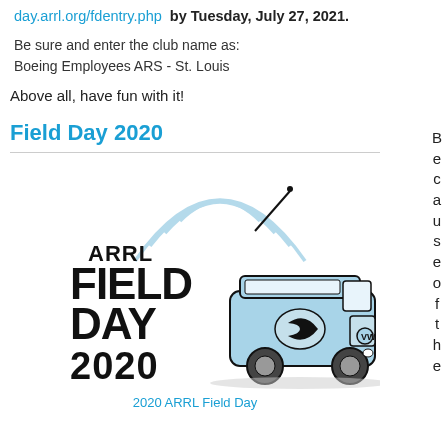day.arrl.org/fdentry.php by Tuesday, July 27, 2021.
Be sure and enter the club name as: Boeing Employees ARS - St. Louis
Above all, have fun with it!
Field Day 2020
[Figure (illustration): ARRL Field Day 2020 logo with a vintage VW bus and radio signal waves in black and light blue]
2020 ARRL Field Day
Because of the